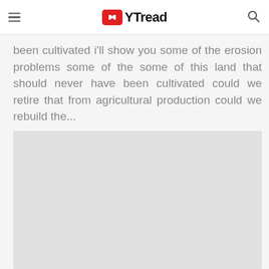YTread
been cultivated i'll show you some of the erosion problems some of the some of this land that should never have been cultivated could we retire that from agricultural production could we rebuild the...
[Figure (photo): Gray placeholder image block below the transcript text]